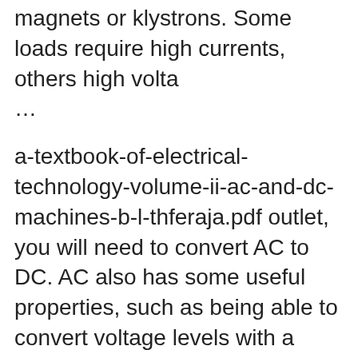magnets or klystrons. Some loads require high currents, others high volta
…
a-textbook-of-electrical-technology-volume-ii-ac-and-dc-machines-b-l-thferaja.pdf outlet, you will need to convert AC to DC. AC also has some useful properties, such as being able to convert voltage levels with a single component (a transformer), which is why AC was chosen as the primary means to transmit electricity over long distances. What You Will Learn The history behind AC and DC Different ways to generate AC and DC
(Guitar Personality). One of the most